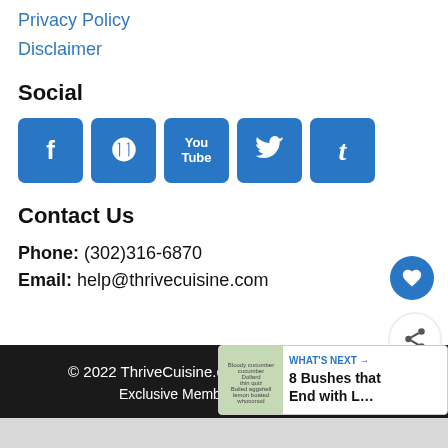Privacy Policy
Disclaimer
Social
[Figure (other): Social media icons: Facebook, Pinterest, YouTube, Twitter, Tumblr]
Contact Us
Phone: (302)316-6870
Email: help@thrivecuisine.com
© 2022 ThriveCuisine.com All Rights Reserved
Exclusive Member of Mediavine F...